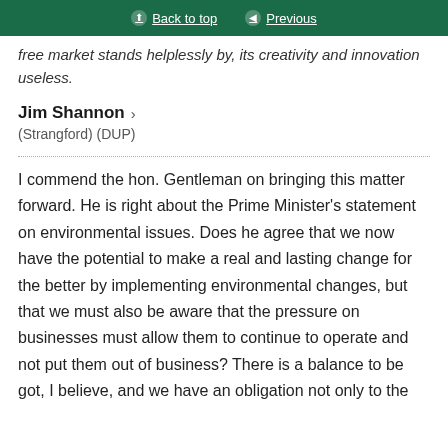Back to top | Previous
free market stands helplessly by, its creativity and innovation useless.
Jim Shannon > (Strangford) (DUP)
I commend the hon. Gentleman on bringing this matter forward. He is right about the Prime Minister's statement on environmental issues. Does he agree that we now have the potential to make a real and lasting change for the better by implementing environmental changes, but that we must also be aware that the pressure on businesses must allow them to continue to operate and not put them out of business? There is a balance to be got, I believe, and we have an obligation not only to the